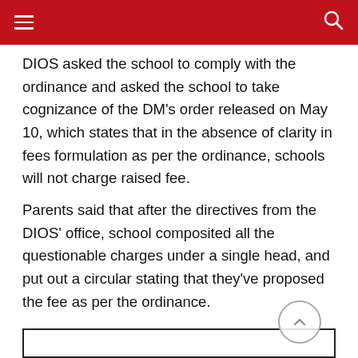≡  [search icon]
DIOS asked the school to comply with the ordinance and asked the school to take cognizance of the DM's order released on May 10, which states that in the absence of clarity in fees formulation as per the ordinance, schools will not charge raised fee.
Parents said that after the directives from the DIOS' office, school composited all the questionable charges under a single head, and put out a circular stating that they've proposed the fee as per the ordinance.
[Figure (other): Advertisement or embedded content box with a scroll-to-top circular button in the bottom-right corner]